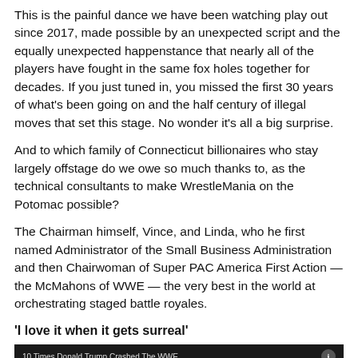This is the painful dance we have been watching play out since 2017, made possible by an unexpected script and the equally unexpected happenstance that nearly all of the players have fought in the same fox holes together for decades. If you just tuned in, you missed the first 30 years of what's been going on and the half century of illegal moves that set this stage. No wonder it's all a big surprise.
And to which family of Connecticut billionaires who stay largely offstage do we owe so much thanks to, as the technical consultants to make WrestleMania on the Potomac possible?
The Chairman himself, Vince, and Linda, who he first named Administrator of the Small Business Administration and then Chairwoman of Super PAC America First Action — the McMahons of WWE — the very best in the world at orchestrating staged battle royales.
'I love it when it gets surreal'
[Figure (screenshot): Video thumbnail showing '10 Times Donald Trump Crashed The WWE' with dark background and partial face image visible at right]